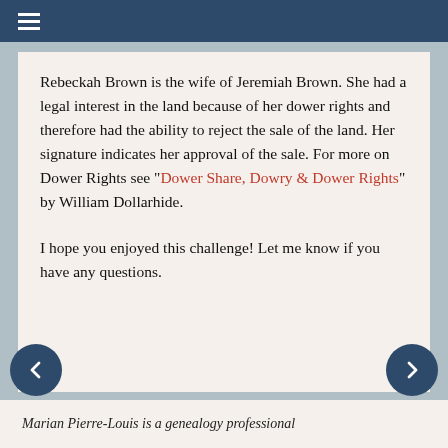≡
Rebeckah Brown is the wife of Jeremiah Brown. She had a legal interest in the land because of her dower rights and therefore had the ability to reject the sale of the land. Her signature indicates her approval of the sale. For more on Dower Rights see "Dower Share, Dowry & Dower Rights" by William Dollarhide.
I hope you enjoyed this challenge! Let me know if you have any questions.
Marian Pierre-Louis is a genealogy professional